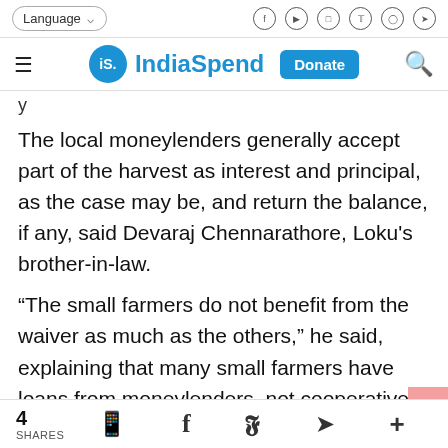Language | [social icons]
iS. IndiaSpend | Donate
The local moneylenders generally accept part of the harvest as interest and principal, as the case may be, and return the balance, if any, said Devaraj Chennarathore, Loku's brother-in-law.
“The small farmers do not benefit from the waiver as much as the others,” he said, explaining that many small farmers have loans from moneylenders, not cooperatives. Often, their loans from cooperatives are in excess of
4 SHARES [WhatsApp] [Facebook] [Twitter] [Telegram] [+]